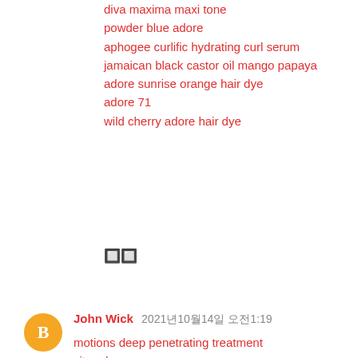diva maxima maxi tone
powder blue adore
aphogee curlific hydrating curl serum
jamaican black castor oil mango papaya
adore sunrise orange hair dye
adore 71
wild cherry adore hair dye
🔲🔲
John Wick  2021년10월14일 오전1:19
motions deep penetrating treatment
citro clear serum
intense red adore
revlon realistic relaxer
tgin sweet honey hair milk
extreme glow soap
diamond glow cream reviews
keracare silken seal liquid sheen
west indian bay rum
fantasia define